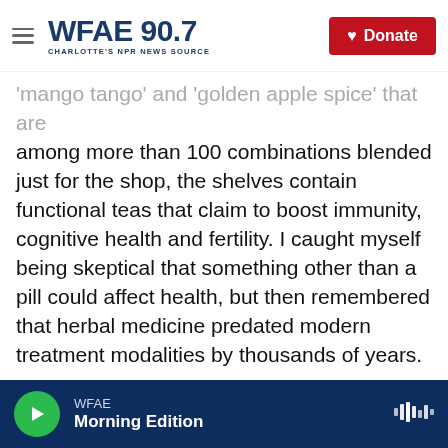WFAE 90.7 - Charlotte's NPR News Source | Donate
'mango tango' and 'golden apple spice' that are among more than 100 combinations blended just for the shop, the shelves contain functional teas that claim to boost immunity, cognitive health and fertility. I caught myself being skeptical that something other than a pill could affect health, but then remembered that herbal medicine predated modern treatment modalities by thousands of years.

Coughlin walked me through the rooibos teas that are being studied for their antioxidant properties. She encouraged me to sniff the pu'erh teas, which are fermented and have a complex scent that's
WFAE | Morning Edition